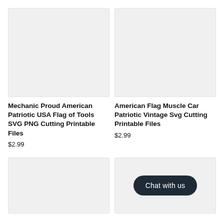[Figure (other): Product image placeholder - light grey box]
[Figure (other): Product image placeholder - light grey box]
Mechanic Proud American Patriotic USA Flag of Tools SVG PNG Cutting Printable Files
$2.99
American Flag Muscle Car Patriotic Vintage Svg Cutting Printable Files
$2.99
[Figure (other): Product image placeholder - light grey box]
[Figure (other): Chat with us button overlay on grey product image placeholder]